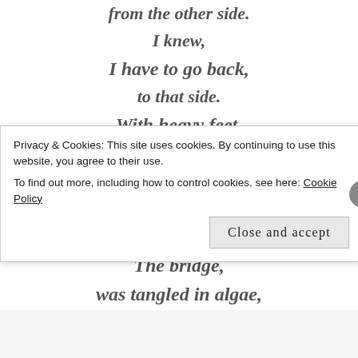from the other side.
I knew,
I have to go back,
to that side.
With heavy feet,
I dragged my limp body,
to the bridge.
But the walk,
wasn't the same.
The bridge,
was tangled in algae,
I slip and slip
Privacy & Cookies: This site uses cookies. By continuing to use this website, you agree to their use.
To find out more, including how to control cookies, see here: Cookie Policy
Close and accept